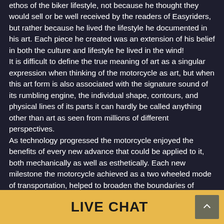ethos of the biker lifestyle, not because he thought they would sell or be well received by the readers of Easyriders, but rather because he lived the lifestyle he documented in his art. Each piece he created was an extension of his belief in both the culture and lifestyle he lived in the wind!
It is difficult to define the true meaning of art as a singular expression when thinking of the motorcycle as art, but when this art form is also associated with the signature sound of its rumbling engine, the individual shape, contours, and physical lines of its parts it can hardly be called anything other than art as seen from millions of different perspectives.
As technology progressed the motorcycle enjoyed the benefits of every new advance that could be applied to it, both mechanically as well as esthetically. Each new milestone the motorcycle achieved as a two wheeled mode of transportation, helped to broaden the boundaries of expression as an art form. Owning a
LIVE CHAT